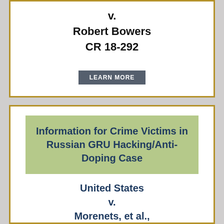v. Robert Bowers CR 18-292
LEARN MORE
Information for Crime Victims in Russian GRU Hacking/Anti-Doping Case
United States v. Morenets, et al., CR 18-263
LEARN MORE